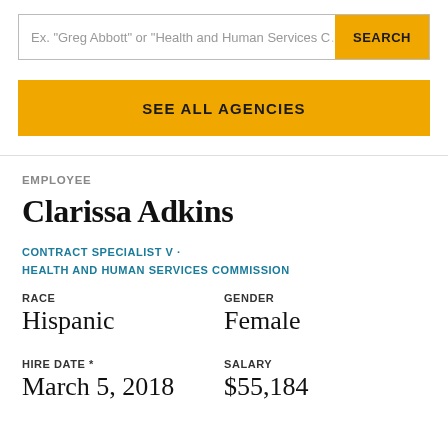Ex. "Greg Abbott" or "Health and Human Services C…
SEARCH
SEE ALL AGENCIES
EMPLOYEE
Clarissa Adkins
CONTRACT SPECIALIST V · HEALTH AND HUMAN SERVICES COMMISSION
| RACE | GENDER |
| --- | --- |
| Hispanic | Female |
| HIRE DATE * | SALARY |
| --- | --- |
| March 5, 2018 | $55,184 |